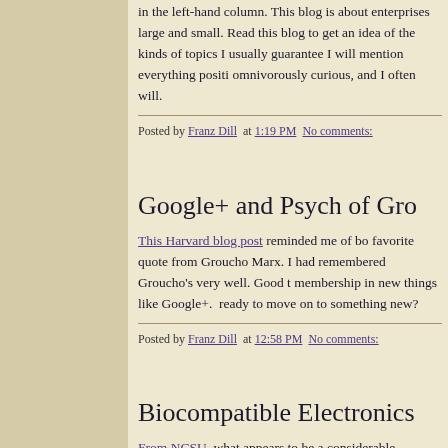in the left-hand column. This blog is about enterprises large and small. Read this blog to get an idea of the kinds of topics I usually guarantee I will mention everything positively omnivorously curious, and I often will.
Posted by Franz Dill at 1:19 PM No comments:
Google+ and Psych of Gro
This Harvard blog post reminded me of bo favorite quote from Groucho Marx. I had remembered Groucho's very well. Good t membership in new things like Google+. ready to move on to something new?
Posted by Franz Dill at 12:58 PM No comments:
Biocompatible Electronics
From NCSU, what appears to be a considerable advance for in-body sensor and computing devices. Add nano